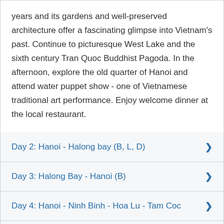years and its gardens and well-preserved architecture offer a fascinating glimpse into Vietnam's past. Continue to picturesque West Lake and the sixth century Tran Quoc Buddhist Pagoda. In the afternoon, explore the old quarter of Hanoi and attend water puppet show - one of Vietnamese traditional art performance. Enjoy welcome dinner at the local restaurant.
Day 2: Hanoi - Halong bay (B, L, D)
Day 3: Halong Bay - Hanoi (B)
Day 4: Hanoi - Ninh Binh - Hoa Lu - Tam Coc
Day 5: Hanoi - fly to Siem Reap